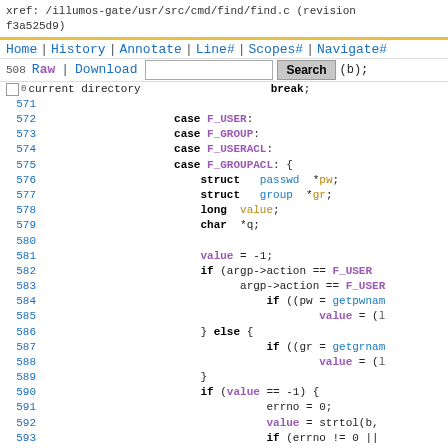xref: /illumos-gate/usr/src/cmd/find/find.c (revision f3a525d9)
Home | History | Annotate | Line# | Scopes# | Navigate#
Raw | Download [search box] Search (b);
current directory   break;
Code lines 571-593 showing C source code with case F_USER, F_GROUP, F_USERACL, F_GROUPACL and related struct/variable declarations and logic